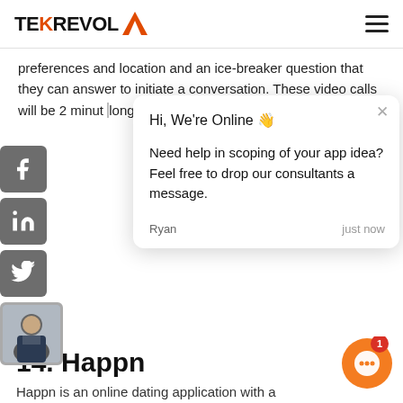TEKREVOL
preferences and location and an ice-breaker question that they can answer to initiate a conversation. These video calls will be 2 minut long, allowing users to heart react to the other
[Figure (screenshot): Chat widget popup with greeting 'Hi, We're Online 👋', message 'Need help in scoping of your app idea? Feel free to drop our consultants a message.', sender 'Ryan', timestamp 'just now']
14. Happn
Happn is an online dating application with a